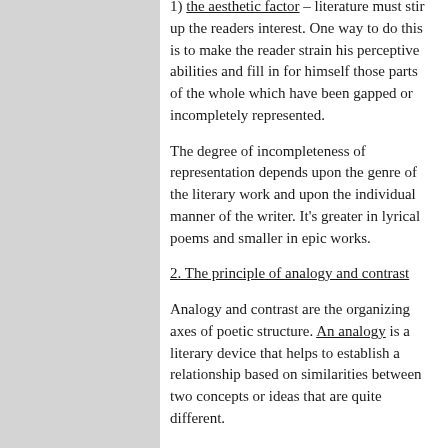1) the aesthetic factor – literature must stir up the readers interest. One way to do this is to make the reader strain his perceptive abilities and fill in for himself those parts of the whole which have been gapped or incompletely represented.
The degree of incompleteness of representation depends upon the genre of the literary work and upon the individual manner of the writer. It's greater in lyrical poems and smaller in epic works.
2. The principle of analogy and contrast
Analogy and contrast are the organizing axes of poetic structure. An analogy is a literary device that helps to establish a relationship based on similarities between two concepts or ideas that are quite different.
E.g.: In the same way as one cannot have the rainbow without the rain, one